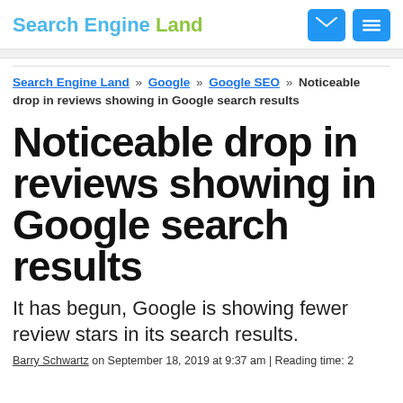Search Engine Land
Search Engine Land » Google » Google SEO » Noticeable drop in reviews showing in Google search results
Noticeable drop in reviews showing in Google search results
It has begun, Google is showing fewer review stars in its search results.
Barry Schwartz on September 18, 2019 at 9:37 am | Reading time: 2